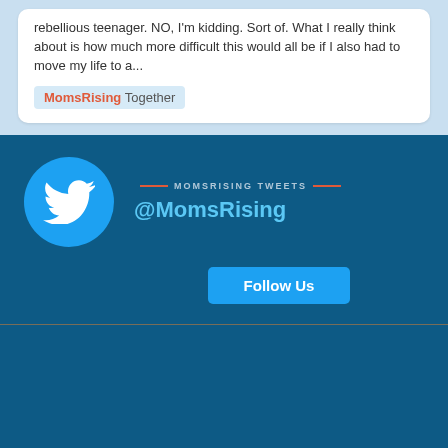rebellious teenager. NO, I'm kidding. Sort of. What I really think about is how much more difficult this would all be if I also had to move my life to a...
MomsRising Together
[Figure (logo): Twitter bird logo in white on a light blue circle]
MOMSRISING TWEETS @MomsRising
Follow Us